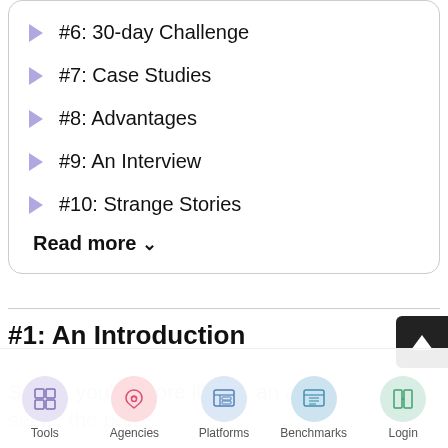#6: 30-day Challenge
#7: Case Studies
#8: Advantages
#9: An Interview
#10: Strange Stories
Read more ∨
#1: An Introduction
Sure... you're more likely than an al section... the pub...
Tools  Agencies  Platforms  Benchmarks  Login